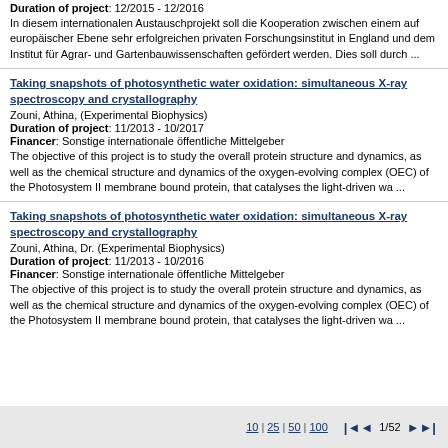Duration of project: 12/2015 - 12/2016
In diesem internationalen Austauschprojekt soll die Kooperation zwischen einem auf europäischer Ebene sehr erfolgreichen privaten Forschungsinstitut in England und dem Institut für Agrar- und Gartenbauwissenschaften gefördert werden. Dies soll durch ...
Taking snapshots of photosynthetic water oxidation: simultaneous X-ray spectroscopy and crystallography
Zouni, Athina, (Experimental Biophysics)
Duration of project: 11/2013 - 10/2017
Financer: Sonstige internationale öffentliche Mittelgeber
The objective of this project is to study the overall protein structure and dynamics, as well as the chemical structure and dynamics of the oxygen-evolving complex (OEC) of the Photosystem II membrane bound protein, that catalyses the light-driven wa ...
Taking snapshots of photosynthetic water oxidation: simultaneous X-ray spectroscopy and crystallography
Zouni, Athina, Dr. (Experimental Biophysics)
Duration of project: 11/2013 - 10/2016
Financer: Sonstige internationale öffentliche Mittelgeber
The objective of this project is to study the overall protein structure and dynamics, as well as the chemical structure and dynamics of the oxygen-evolving complex (OEC) of the Photosystem II membrane bound protein, that catalyses the light-driven wa ...
10 | 25 | 50 | 100  |◄◄ 1/52 ►►|